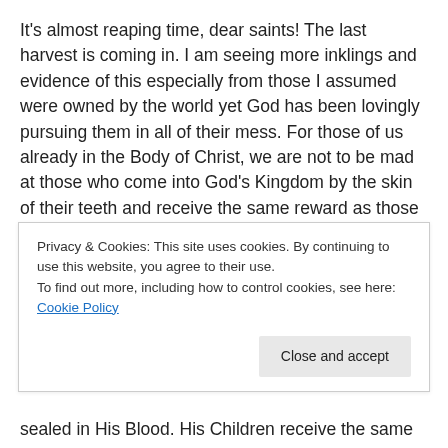It's almost reaping time, dear saints! The last harvest is coming in. I am seeing more inklings and evidence of this especially from those I assumed were owned by the world yet God has been lovingly pursuing them in all of their mess. For those of us already in the Body of Christ, we are not to be mad at those who come into God's Kingdom by the skin of their teeth and receive the same reward as those who have long served the Lord.
Matthew 20:1-16 speaks about the 11th hour. God's people were grumbling working in the vineyard because
Privacy & Cookies: This site uses cookies. By continuing to use this website, you agree to their use. To find out more, including how to control cookies, see here: Cookie Policy
sealed in His Blood. His Children receive the same